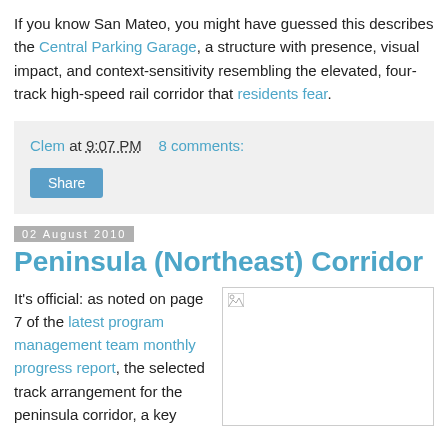If you know San Mateo, you might have guessed this describes the Central Parking Garage, a structure with presence, visual impact, and context-sensitivity resembling the elevated, four-track high-speed rail corridor that residents fear.
Clem at 9:07 PM   8 comments:
Share
02 August 2010
Peninsula (Northeast) Corridor
It's official: as noted on page 7 of the latest program management team monthly progress report, the selected track arrangement for the peninsula corridor, a key
[Figure (photo): Image placeholder with broken image icon in top-left corner]